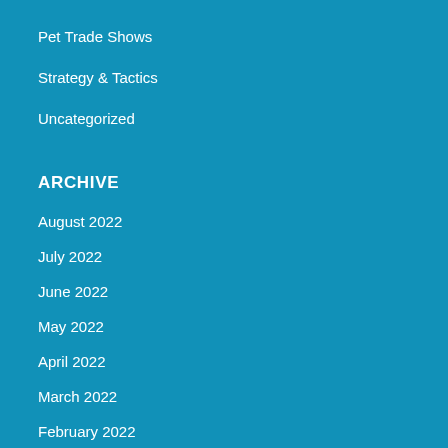Pet Trade Shows
Strategy & Tactics
Uncategorized
ARCHIVE
August 2022
July 2022
June 2022
May 2022
April 2022
March 2022
February 2022
January 2022
December 2021